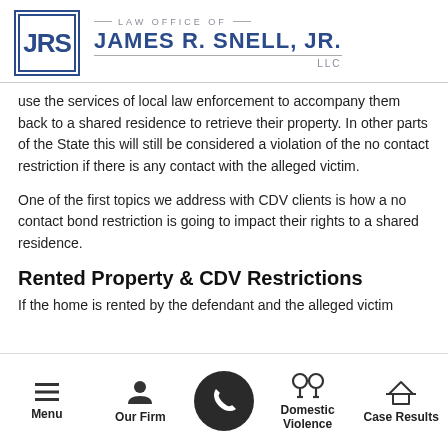LAW OFFICE OF JAMES R. SNELL, JR. LLC
use the services of local law enforcement to accompany them back to a shared residence to retrieve their property. In other parts of the State this will still be considered a violation of the no contact restriction if there is any contact with the alleged victim.
One of the first topics we address with CDV clients is how a no contact bond restriction is going to impact their rights to a shared residence.
Rented Property & CDV Restrictions
If the home is rented by the defendant and the alleged victim
Menu | Our Firm | [Call] | Domestic Violence | Case Results